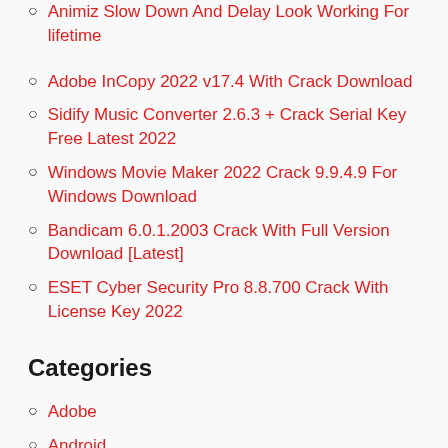Animiz Slow Down And Delay Look Working For lifetime
Adobe InCopy 2022 v17.4 With Crack Download
Sidify Music Converter 2.6.3 + Crack Serial Key Free Latest 2022
Windows Movie Maker 2022 Crack 9.9.4.9 For Windows Download
Bandicam 6.0.1.2003 Crack With Full Version Download [Latest]
ESET Cyber Security Pro 8.8.700 Crack With License Key 2022
Categories
Adobe
Android
Anti Malware